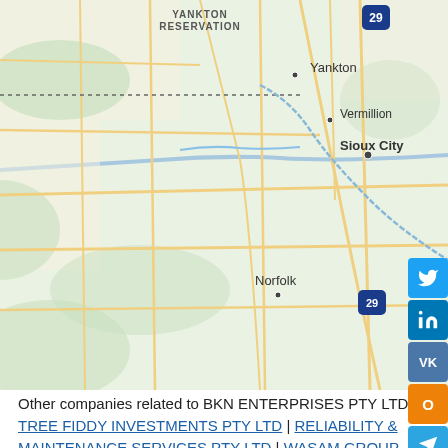[Figure (map): Map showing geographic area including Yankton Reservation, Yankton, Vermillion, Sioux City, and Norfolk with road networks]
Other companies related to BKN ENTERPRISES PTY LTD: TREE FIDDY INVESTMENTS PTY LTD | RELIABILITY & MAINTENANCE SERVICES PTY LTD | WASAM GROUP PTY LTD | JTS REALTY PTY LTD | SUBDIVISION MUSIC PTY LTD
BKN ENTERPRISES PTY LTD (BKN BATTERY SPECIALITIES PTY LTD ) is an australian proprietary company, located in n/a, Australia. Company BKN ENTERPRISES PTY LTD is registered at 19/02/2018, got ACN as 624519268 and ABN as 31624519268; at the moment company status is registered. We found out such reports and documents as